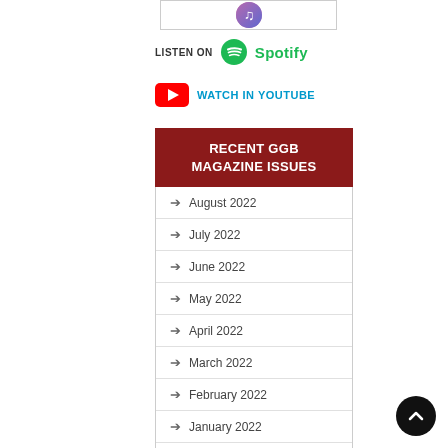[Figure (logo): Apple/iTunes music icon at top]
[Figure (logo): Listen on Spotify banner with Spotify green logo]
[Figure (logo): Watch in YouTube banner with red YouTube play button icon]
RECENT GGB MAGAZINE ISSUES
August 2022
July 2022
June 2022
May 2022
April 2022
March 2022
February 2022
January 2022
December 2021
November 2021